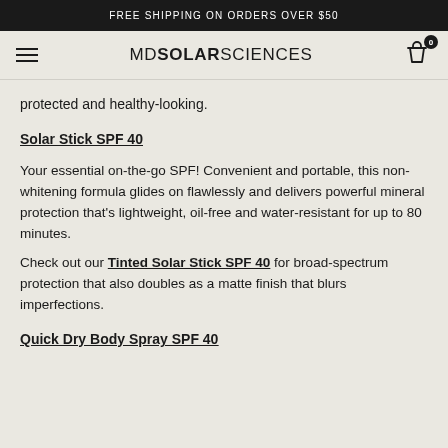FREE SHIPPING ON ORDERS OVER $50
[Figure (logo): MDSolarSciences logo with hamburger menu and cart icon with badge showing 0]
protected and healthy-looking.
Solar Stick SPF 40
Your essential on-the-go SPF! Convenient and portable, this non-whitening formula glides on flawlessly and delivers powerful mineral protection that's lightweight, oil-free and water-resistant for up to 80 minutes.
Check out our Tinted Solar Stick SPF 40 for broad-spectrum protection that also doubles as a matte finish that blurs imperfections.
Quick Dry Body Spray SPF 40